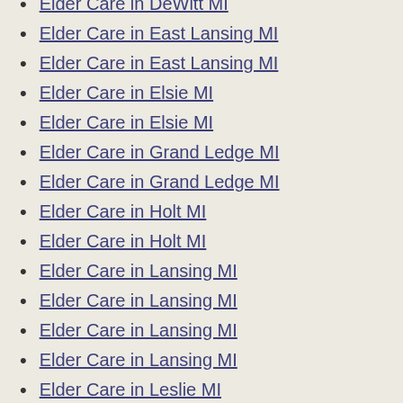Elder Care in DeWitt MI
Elder Care in East Lansing MI
Elder Care in East Lansing MI
Elder Care in Elsie MI
Elder Care in Elsie MI
Elder Care in Grand Ledge MI
Elder Care in Grand Ledge MI
Elder Care in Holt MI
Elder Care in Holt MI
Elder Care in Lansing MI
Elder Care in Lansing MI
Elder Care in Lansing MI
Elder Care in Lansing MI
Elder Care in Leslie MI
Elder Care in Leslie MI